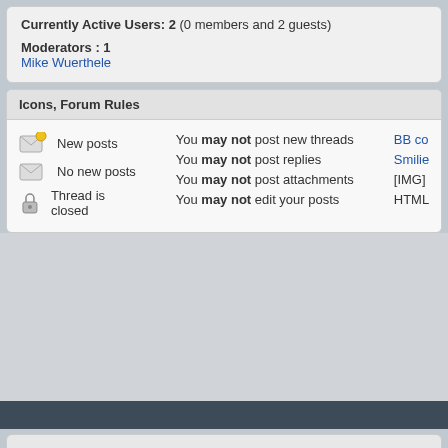Currently Active Users: 2 (0 members and 2 guests)
Moderators : 1
Mike Wuerthele
Icons, Forum Rules
New posts
No new posts
Thread is closed
You may not post new threads
You may not post replies
You may not post attachments
You may not edit your posts
BB co...
Smilie...
[IMG]
HTML
↑ Top   Privacy Policy   All times are GMT -4. The time now is 03:14 AM.   All conte...